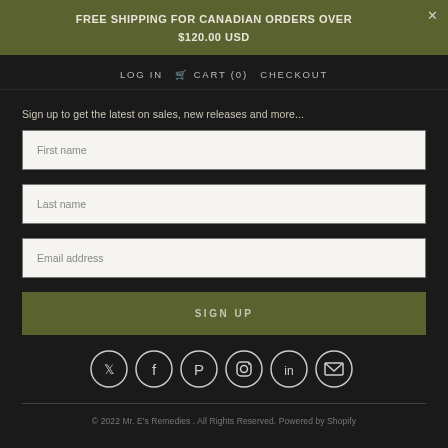FREE SHIPPING FOR CANADIAN ORDERS OVER $120.00 USD
LOG IN  CART (0)  CHECKOUT
Sign up to get the latest on sales, new releases and more...
First name
Last name
Email address
SIGN UP
[Figure (infographic): Row of social media icons: Twitter, Facebook, Pinterest, Instagram, LinkedIn, Email]
© 2022 Mr. E's Remedies . All Rights Reserved. Powered by Shopify